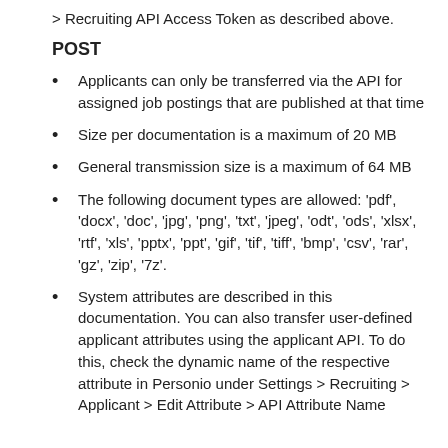> Recruiting API Access Token as described above.
POST
Applicants can only be transferred via the API for assigned job postings that are published at that time
Size per documentation is a maximum of 20 MB
General transmission size is a maximum of 64 MB
The following document types are allowed: 'pdf', 'docx', 'doc', 'jpg', 'png', 'txt', 'jpeg', 'odt', 'ods', 'xlsx', 'rtf', 'xls', 'pptx', 'ppt', 'gif', 'tif', 'tiff', 'bmp', 'csv', 'rar', 'gz', 'zip', '7z'.
System attributes are described in this documentation. You can also transfer user-defined applicant attributes using the applicant API. To do this, check the dynamic name of the respective attribute in Personio under Settings > Recruiting > Applicant > Edit Attribute > API Attribute Name